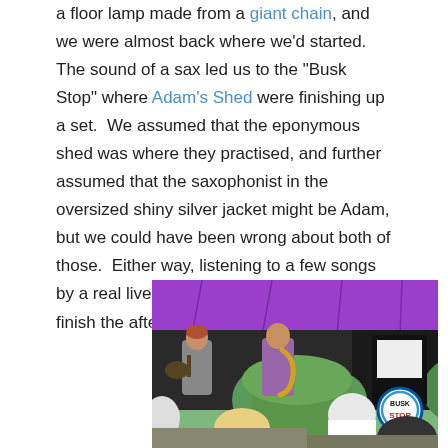a floor lamp made from a giant chain, and we were almost back where we'd started.  The sound of a sax led us to the "Busk Stop" where Adam's Shed were finishing up a set.  We assumed that the eponymous shed was where they practised, and further assumed that the saxophonist in the oversized shiny silver jacket might be Adam, but we could have been wrong about both of those.  Either way, listening to a few songs by a real live band was a perfect way to finish the afternoon.
[Figure (photo): Outdoor live band performance under a purple canopy/tent. Musicians playing saxophone and guitar on a small stage, with an audience watching from behind. Green plants/shrubs in the foreground. A circular 'Busk Stop' sign visible on the right side.]